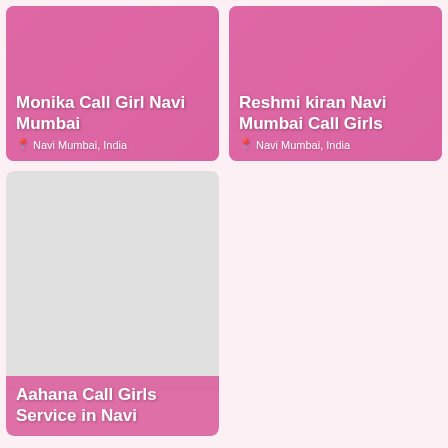[Figure (other): Card with pink overlay: Monika Call Girl Navi Mumbai, Navi Mumbai, India]
[Figure (other): Card with pink overlay: Reshmi kiran Navi Mumbai Call Girls, Navi Mumbai, India]
[Figure (photo): Large card with gray placeholder image and pink bottom overlay: Aahana Call Girls Service in Navi]